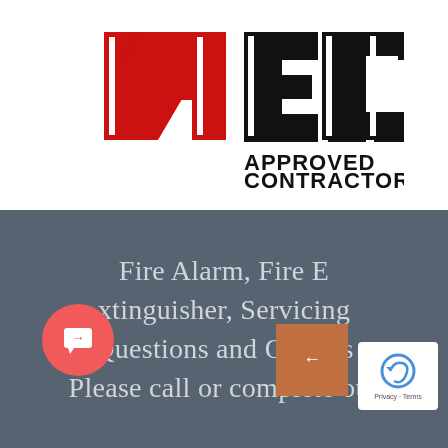[Figure (logo): NICEIC Approved Contractor logo with red cross/N shape and bold black letters EIC, with text APPROVED CONTRACTOR below]
Fire Alarm, Fire Extinguisher, Servicing, Questions and Queries Please call or complete our